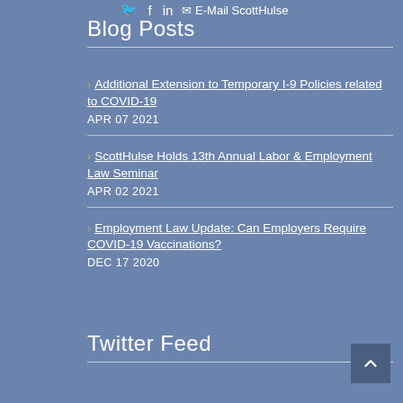E-Mail ScottHulse
Blog Posts
Additional Extension to Temporary I-9 Policies related to COVID-19
APR 07 2021
ScottHulse Holds 13th Annual Labor & Employment Law Seminar
APR 02 2021
Employment Law Update: Can Employers Require COVID-19 Vaccinations?
DEC 17 2020
Twitter Feed